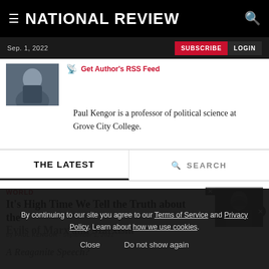NATIONAL REVIEW
Sep. 1, 2022
SUBSCRIBE  LOGIN
Get Author's RSS Feed
Paul Kengor is a professor of political science at Grove City College.
THE LATEST
SEARCH
WORLD
It's High Time We Tell the Truth about the Evils of Marx and Marxism
By PAUL KENGOR  September 1, 2022
[Figure (photo): Black and white photo of Karl Marx]
A Reaganite Speech?
By continuing to our site you agree to our Terms of Service and Privacy Policy. Learn about how we use cookies.
Close   Do not show again